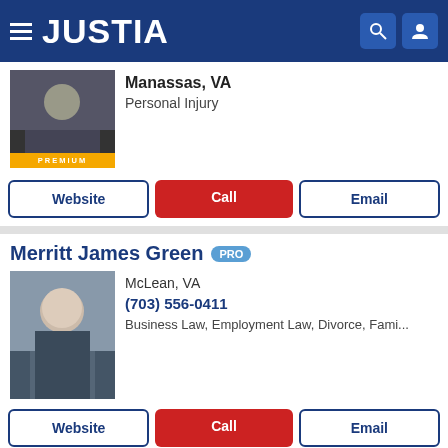JUSTIA
Manassas, VA
Personal Injury
Website | Call | Email
Merritt James Green PRO
McLean, VA
(703) 556-0411
Business Law, Employment Law, Divorce, Fami...
Website | Call | Email
Justia Ask a Lawyer is a forum for consumers to get answers to basic legal questions. Any information sent through Justia Ask a Lawyer is not secure and is done so on a non-confidential basis